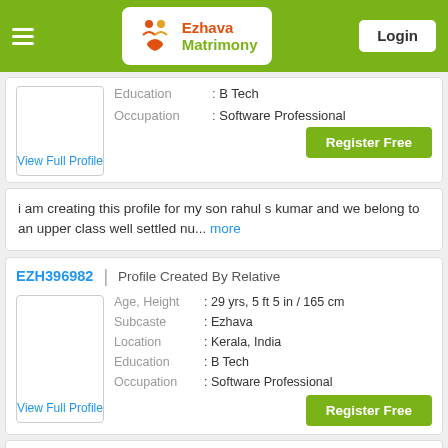Ezhava Matrimony | Login
Education : B Tech
Occupation : Software Professional
View Full Profile
[Figure (other): Register Free button (green)]
i am creating this profile for my son rahul s kumar and we belong to an upper class well settled nu... more
EZH396982 | Profile Created By Relative
Age, Height : 29 yrs, 5 ft 5 in / 165 cm
Subcaste : Ezhava
Location : Kerala, India
Education : B Tech
Occupation : Software Professional
View Full Profile
[Figure (other): Register Free button (green)]
I am a very open-minded, cool, calm and caring person. I did my Engineering in Computer Science from... more